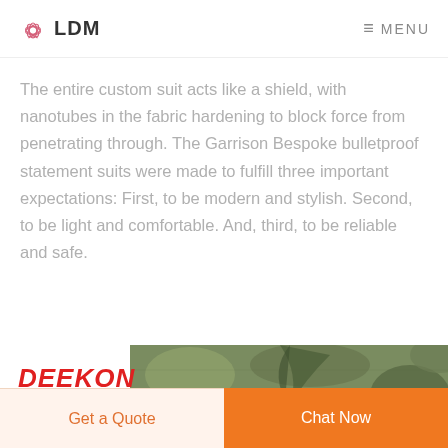LDM  MENU
The entire custom suit acts like a shield, with nanotubes in the fabric hardening to block force from penetrating through. The Garrison Bespoke bulletproof statement suits were made to fulfill three important expectations: First, to be modern and stylish. Second, to be light and comfortable. And, third, to be reliable and safe.
[Figure (photo): DEEKON logo in red bold italic text on the left, with a green camouflage patterned fabric/clothing visible on the right side]
Get a Quote
Chat Now